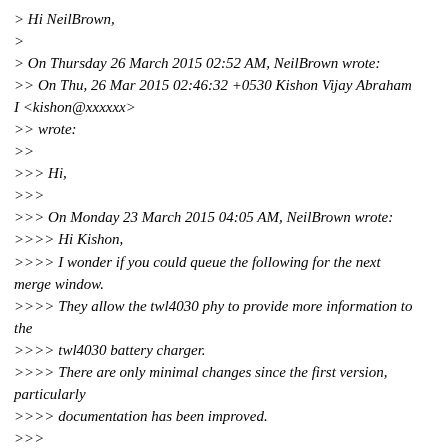> Hi NeilBrown,
>
> On Thursday 26 March 2015 02:52 AM, NeilBrown wrote:
>> On Thu, 26 Mar 2015 02:46:32 +0530 Kishon Vijay Abraham I <kishon@xxxxxx>
>> wrote:
>>
>>> Hi,
>>>
>>> On Monday 23 March 2015 04:05 AM, NeilBrown wrote:
>>>> Hi Kishon,
>>>> I wonder if you could queue the following for the next merge window.
>>>> They allow the twl4030 phy to provide more information to the
>>>> twl4030 battery charger.
>>>> There are only minimal changes since the first version, particularly
>>>> documentation has been improved.
>>>
>>> There are quite a few things in this series which use the USB PHY library
>>> interface which is kindof deprecated. We should try and use the Generic PHY
>>> library for all of them. It would also be better to add features